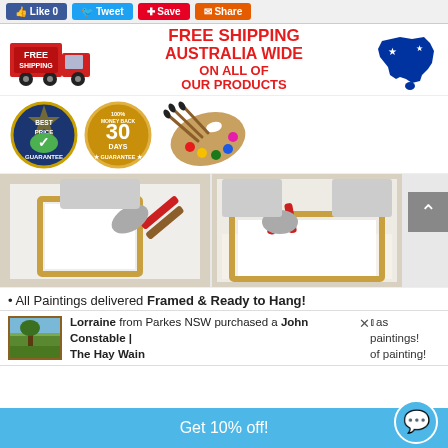Like 0 | Tweet | Save | Share
[Figure (infographic): Free Shipping Australia Wide on All of Our Products banner with red truck and Australian map]
[Figure (infographic): Best Price Guarantee badge, 100% Money Back 30 Days Guarantee badge, and artist palette image]
[Figure (photo): Two photos showing someone stretching a canvas frame with pliers]
All Paintings delivered Framed & Ready to Hang!
Lorraine from Parkes NSW purchased a John Constable | The Hay Wain
Get 10% off!